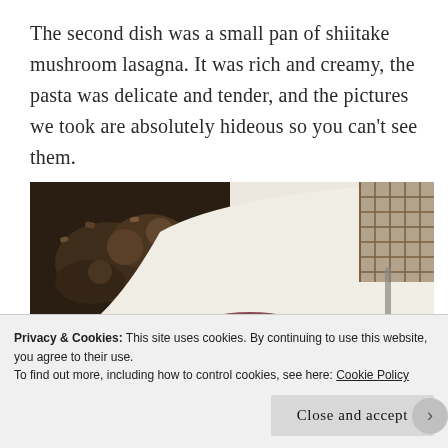The second dish was a small pan of shiitake mushroom lasagna. It was rich and creamy, the pasta was delicate and tender, and the pictures we took are absolutely hideous so you can't see them.
[Figure (photo): Close-up photo of sliced cooked meat (likely duck or lamb) topped with chopped mushrooms and white crumbled cheese, served on a white plate with additional mushroom garnish]
Privacy & Cookies: This site uses cookies. By continuing to use this website, you agree to their use.
To find out more, including how to control cookies, see here: Cookie Policy
Close and accept